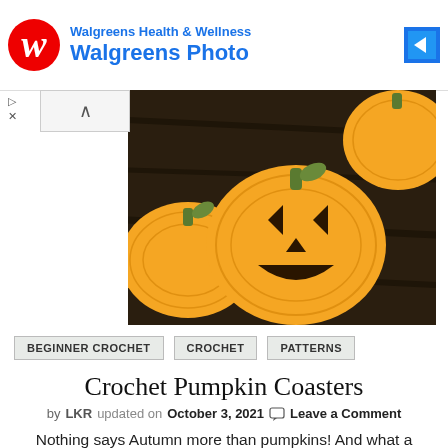[Figure (screenshot): Walgreens Health & Wellness advertisement banner with red W logo, Walgreens Photo text in blue, and blue diamond arrow icon on right]
[Figure (photo): Orange crocheted pumpkin coasters on a dark wood surface, including one with a jack-o-lantern face]
BEGINNER CROCHET
CROCHET
PATTERNS
Crochet Pumpkin Coasters
by LKR updated on October 3, 2021  Leave a Comment
Nothing says Autumn more than pumpkins! And what a better way to get in the mood for Fall than to decorate with crochet pumpkin coasters?  These adorable crochet pumpkin